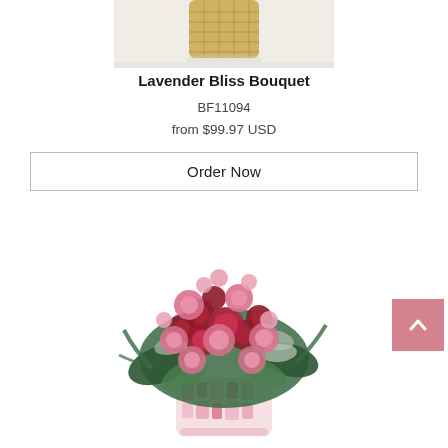[Figure (photo): Top portion of a floral product image showing a woven gold vase on a white surface]
Lavender Bliss Bouquet
BF11094
from $99.97 USD
Order Now
[Figure (photo): A lush floral bouquet with pink roses, red alstroemerias, red carnations, and greenery arranged in a pink mosaic glass vase]